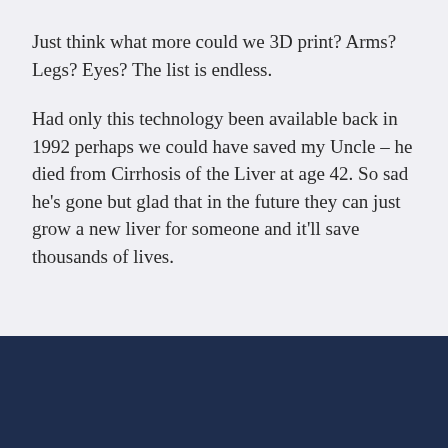Just think what more could we 3D print? Arms? Legs? Eyes? The list is endless.
Had only this technology been available back in 1992 perhaps we could have saved my Uncle – he died from Cirrhosis of the Liver at age 42. So sad he's gone but glad that in the future they can just grow a new liver for someone and it'll save thousands of lives.